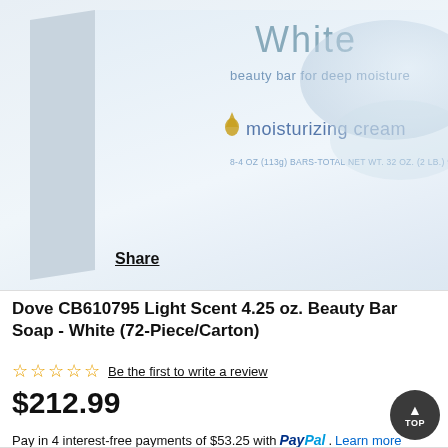[Figure (photo): Partial view of a Dove White beauty bar soap product box showing 'beauty bar for deep moisture', moisturizing cream text with drop icon, and net weight information. A 'Share' link appears at bottom left of the image area.]
Dove CB610795 Light Scent 4.25 oz. Beauty Bar Soap - White (72-Piece/Carton)
Be the first to write a review
$212.99
Pay in 4 interest-free payments of $53.25 with PayPal. Learn more